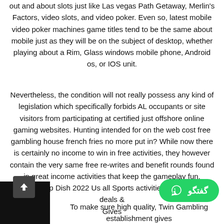out and about slots just like Las vegas Path Getaway, Merlin's Factors, video slots, and video poker. Even so, latest mobile video poker machines game titles tend to be the same about mobile just as they will be on the subject of desktop, whether playing about a Rim, Glass windows mobile phone, Android os, or IOS unit.
Nevertheless, the condition will not really possess any kind of legislation which specifically forbids AL occupants or site visitors from participating at certified just offshore online gaming websites. Hunting intended for on the web cost free gambling house french fries no more put in? While now there is certainly no income to win in free activities, they however contain the very same free re-writes and benefit rounds found in great income activities that keep the gameplay fun. Greatest Top Dish 2022 Us all Sports activities Betting Bonus deals & Gives
[Figure (other): Black rectangle in bottom-left corner with a dark up-arrow button, and a green WhatsApp chat button with Persian text گفتگو on the bottom-right]
To make sure high quality, Twin Gambling establishment gives